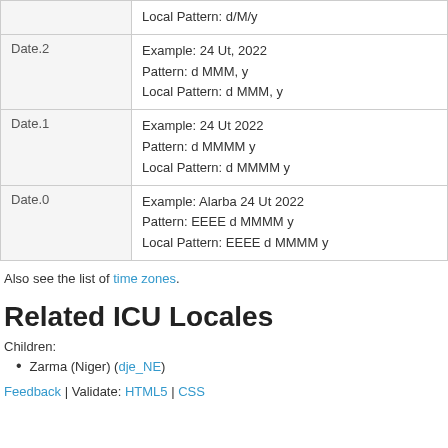|  |  |
| --- | --- |
|  | Local Pattern: d/M/y |
| Date.2 | Example: 24 Ut, 2022
Pattern: d MMM, y
Local Pattern: d MMM, y |
| Date.1 | Example: 24 Ut 2022
Pattern: d MMMM y
Local Pattern: d MMMM y |
| Date.0 | Example: Alarba 24 Ut 2022
Pattern: EEEE d MMMM y
Local Pattern: EEEE d MMMM y |
Also see the list of time zones.
Related ICU Locales
Children:
Zarma (Niger) (dje_NE)
Feedback | Validate: HTML5 | CSS